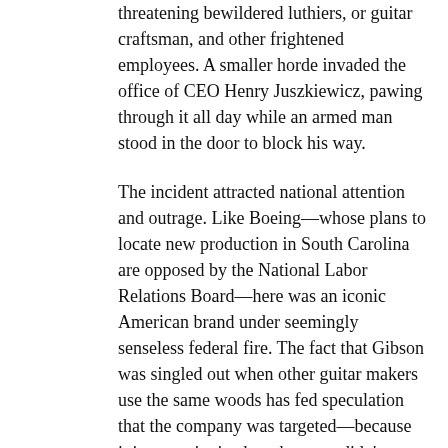threatening bewildered luthiers, or guitar craftsman, and other frightened employees. A smaller horde invaded the office of CEO Henry Juszkiewicz, pawing through it all day while an armed man stood in the door to block his way.
The incident attracted national attention and outrage. Like Boeing—whose plans to locate new production in South Carolina are opposed by the National Labor Relations Board—here was an iconic American brand under seemingly senseless federal fire. The fact that Gibson was singled out when other guitar makers use the same woods has fed speculation that the company was targeted—because it is not unionized, perhaps, or didn't donate enough to the Democratic Party.
"I don't think it's a political issue," Mr. Juszkiewicz says, shaking his head. "But I will say this: I wrote a letter to President Obama. I spelled out what happened. I said: You know, we got raided and here are the facts, I think it's unfair. What do you think we should do? No response."